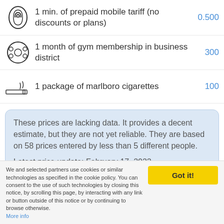1 min. of prepaid mobile tariff (no discounts or plans) — 0.500
1 month of gym membership in business district — 300
1 package of marlboro cigarettes — 100
These prices are lacking data. It provides a decent estimate, but they are not yet reliable. They are based on 58 prices entered by less than 5 different people.

Latest price update: February 17, 2022
We and selected partners use cookies or similar technologies as specified in the cookie policy. You can consent to the use of such technologies by closing this notice, by scrolling this page, by interacting with any link or button outside of this notice or by continuing to browse otherwise. More info